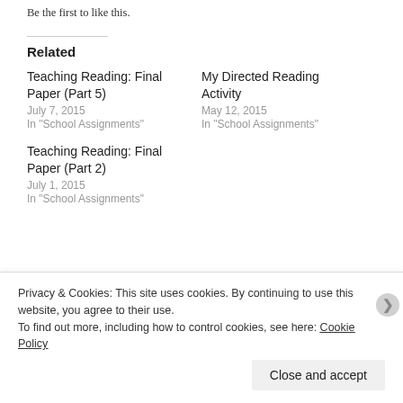Be the first to like this.
Related
Teaching Reading: Final Paper (Part 5)
July 7, 2015
In "School Assignments"
My Directed Reading Activity
May 12, 2015
In "School Assignments"
Teaching Reading: Final Paper (Part 2)
July 1, 2015
In "School Assignments"
Privacy & Cookies: This site uses cookies. By continuing to use this website, you agree to their use.
To find out more, including how to control cookies, see here: Cookie Policy
Close and accept